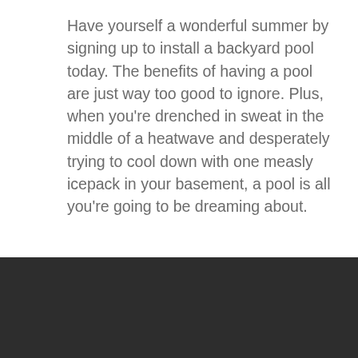Have yourself a wonderful summer by signing up to install a backyard pool today. The benefits of having a pool are just way too good to ignore. Plus, when you're drenched in sweat in the middle of a heatwave and desperately trying to cool down with one measly icepack in your basement, a pool is all you're going to be dreaming about.
STATE OF THE ART LANDSCAPE
State of the Art Landscape is a full-service design-